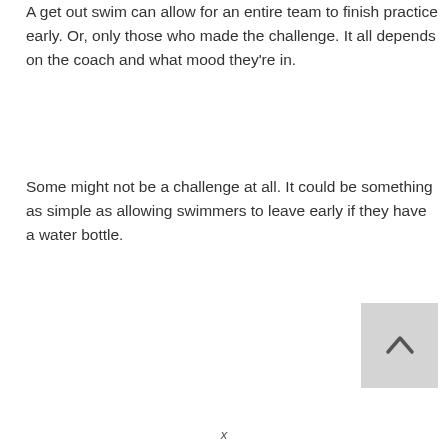A get out swim can allow for an entire team to finish practice early. Or, only those who made the challenge. It all depends on the coach and what mood they're in.
Some might not be a challenge at all. It could be something as simple as allowing swimmers to leave early if they have a water bottle.
[Figure (other): Back to top button - a square gray button with an upward-pointing caret/chevron icon]
x